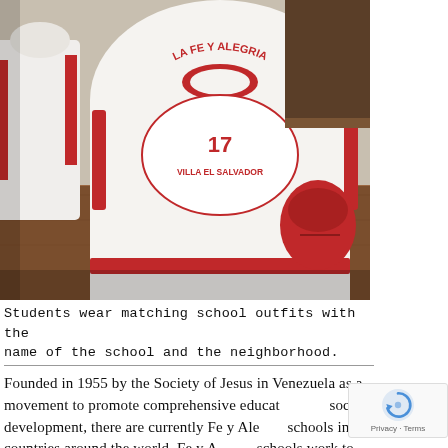[Figure (photo): Students wearing white school uniforms/jackets with red lettering that reads 'LA FE Y ALEGRIA 17 VILLA EL SALVADOR' on the back. A wooden desk is visible in the foreground, and a red bag is visible in the background.]
Students wear matching school outfits with the name of the school and the neighborhood.
Founded in 1955 by the Society of Jesus in Venezuela as a movement to promote comprehensive education and social development, there are currently Fe y Alegria schools in 19 countries around the world. Fe y Alegria schools work to strengthen education for marginalized